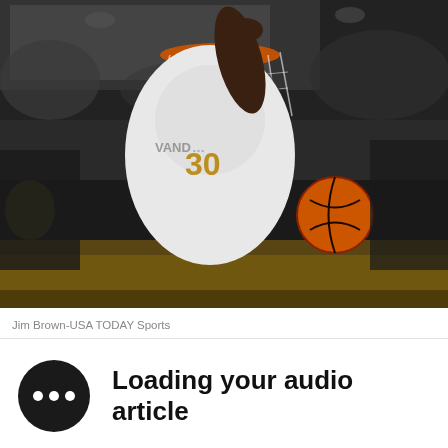[Figure (photo): Basketball player wearing Vanderbilt #30 jersey dunking the ball, hanging from the rim with the basketball visible in the air, arena crowd in background]
Jim Brown-USA TODAY Sports
Loading your audio article